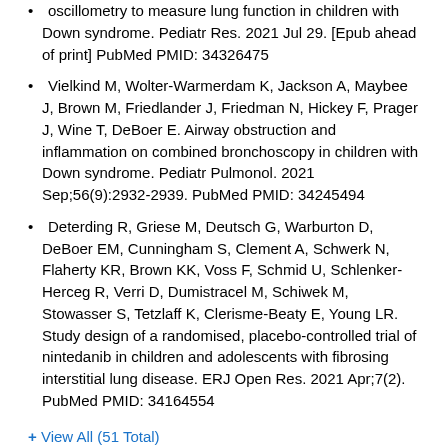oscillometry to measure lung function in children with Down syndrome. Pediatr Res. 2021 Jul 29. [Epub ahead of print] PubMed PMID: 34326475
Vielkind M, Wolter-Warmerdam K, Jackson A, Maybee J, Brown M, Friedlander J, Friedman N, Hickey F, Prager J, Wine T, DeBoer E. Airway obstruction and inflammation on combined bronchoscopy in children with Down syndrome. Pediatr Pulmonol. 2021 Sep;56(9):2932-2939. PubMed PMID: 34245494
Deterding R, Griese M, Deutsch G, Warburton D, DeBoer EM, Cunningham S, Clement A, Schwerk N, Flaherty KR, Brown KK, Voss F, Schmid U, Schlenker-Herceg R, Verri D, Dumistracel M, Schiwek M, Stowasser S, Tetzlaff K, Clerisme-Beaty E, Young LR. Study design of a randomised, placebo-controlled trial of nintedanib in children and adolescents with fibrosing interstitial lung disease. ERJ Open Res. 2021 Apr;7(2). PubMed PMID: 34164554
+ View All (51 Total)
Professional Memberships
American Thoracic Society (ATS), Member